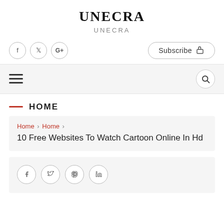UNECRA
UNECRA
f  y  G+  Subscribe
HOME
Home › Home › 10 Free Websites To Watch Cartoon Online In Hd
[Figure (screenshot): Bottom card with social share icons: f, twitter, pinterest, linkedin circles]